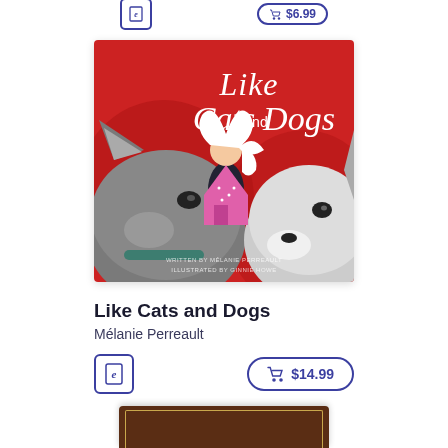[Figure (illustration): Book cover for 'Like Cats and Dogs' showing a girl with white hair holding a pink arrow shape between a cat and dog on a red background]
Like Cats and Dogs
Mélanie Perreault
$14.99